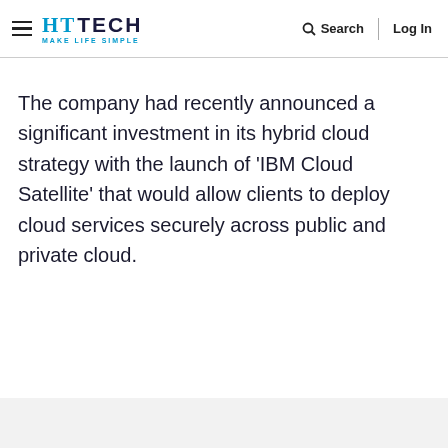HT TECH MAKE LIFE SIMPLE — Search | Log In
The company had recently announced a significant investment in its hybrid cloud strategy with the launch of 'IBM Cloud Satellite' that would allow clients to deploy cloud services securely across public and private cloud.